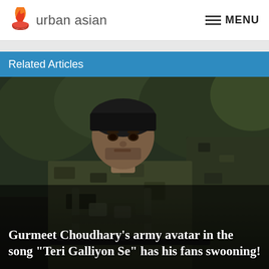urban asian   MENU
Related Articles
[Figure (photo): A man dressed in military camouflage army uniform wearing a black head covering, holding a weapon, with another soldier partially visible to the right, set against a dark forested background.]
Gurmeet Choudhary's army avatar in the song "Teri Galliyon Se" has his fans swooning!